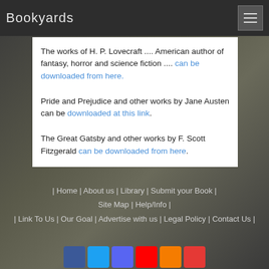Bookyards
The works of H. P. Lovecraft .... American author of fantasy, horror and science fiction .... can be downloaded from here.
Pride and Prejudice and other works by Jane Austen can be downloaded at this link.
The Great Gatsby and other works by F. Scott Fitzgerald can be downloaded from here.
| Home | About us | Library | Submit your Book | Site Map | Help/Info | | Link To Us | Our Goal | Advertise with us | Legal Policy | Contact Us |